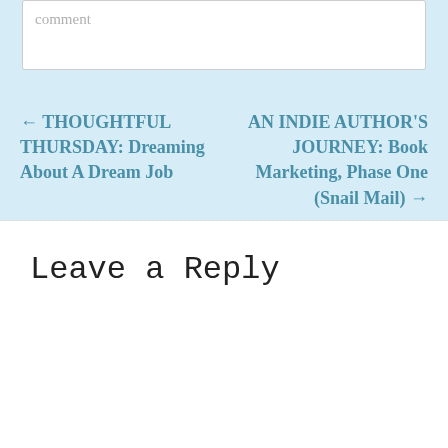comment
← THOUGHTFUL THURSDAY: Dreaming About A Dream Job
AN INDIE AUTHOR'S JOURNEY: Book Marketing, Phase One (Snail Mail) →
Leave a Reply
Privacy & Cookies: This site uses cookies. By continuing to use this website, you agree to their use.
To find out more, including how to control cookies, see here:
Cookie Policy
Close and accept